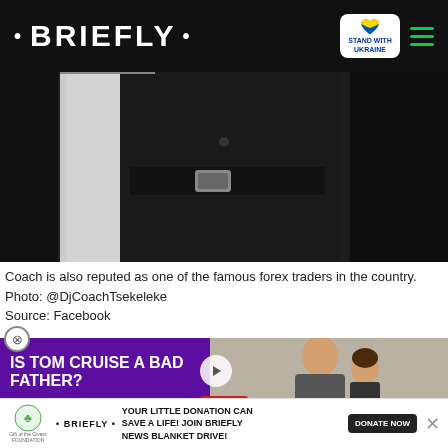• BRIEFLY • | STAND WITH UKRAINE
[Figure (photo): A person wearing a black outfit with a white shirt/jacket and black belt, partially visible torso shot in dark surroundings]
Coach is also reputed as one of the famous forex traders in the country. Photo: @DjCoachTsekeleke
Source: Facebook
x trading firm
lobal market with lots of risks. risk only made him more lished the Forex Broker Killer minute strategy and all its
[Figure (screenshot): Advertisement overlay showing 'IS TOM CRUISE A BAD FATHER?' with photo of Tom Cruise holding a child, purple background, play button, scroll button]
YOUR LITTLE DONATION CAN SAVE A LIFE! JOIN BRIEFLY NEWS BLANKET DRIVE! DONATE NOW